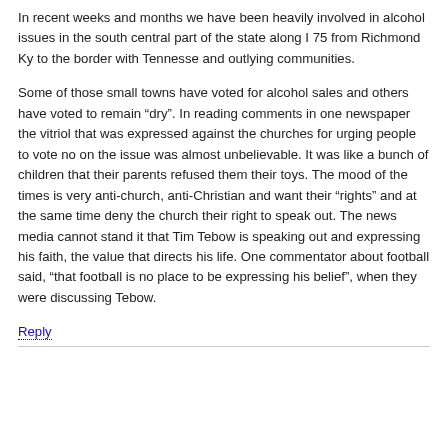In recent weeks and months we have been heavily involved in alcohol issues in the south central part of the state along I 75 from Richmond Ky to the border with Tennesse and outlying communities.
Some of those small towns have voted for alcohol sales and others have voted to remain "dry". In reading comments in one newspaper the vitriol that was expressed against the churches for urging people to vote no on the issue was almost unbelievable. It was like a bunch of children that their parents refused them their toys. The mood of the times is very anti-church, anti-Christian and want their "rights" and at the same time deny the church their right to speak out. The news media cannot stand it that Tim Tebow is speaking out and expressing his faith, the value that directs his life. One commentator about football said, "that football is no place to be expressing his belief", when they were discussing Tebow.
Reply